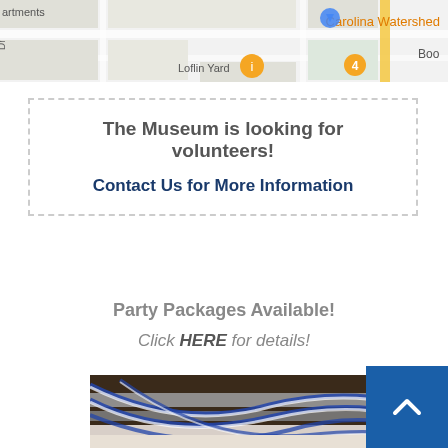[Figure (map): Partial Google Maps view showing Carolina Watershed label, Loflin Yard marker, and street layout]
The Museum is looking for volunteers!
Contact Us for More Information
Party Packages Available!
Click HERE for details!
[Figure (photo): Indoor party room decorated with a Happy Birthday banner, blue and white streamers on the ceiling, and colorful balloons along the wall]